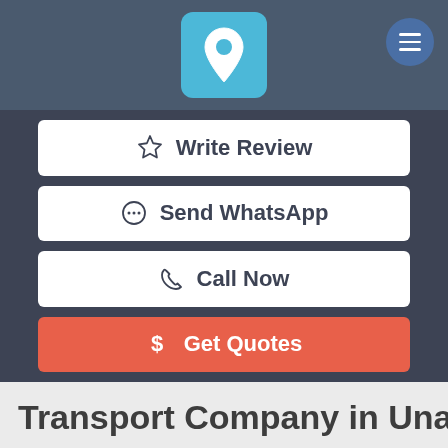[Figure (logo): Location pin icon on sky blue rounded square, hamburger menu button top right]
Write Review
Send WhatsApp
Call Now
Get Quotes
Transport Company in Unama